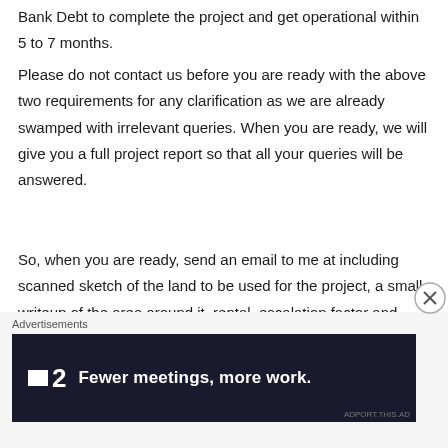Bank Debt to complete the project and get operational within 5 to 7 months.
Please do not contact us before you are ready with the above two requirements for any clarification as we are already swamped with irrelevant queries. When you are ready, we will give you a full project report so that all your queries will be answered.
So, when you are ready, send an email to me at including scanned sketch of the land to be used for the project, a small writeup of the area around it, rental, escalation factor and upfront security deposite payment sought by the lessor
[Figure (other): Advertisement banner with dark navy background. Shows a logo with a small white square and number 2, followed by bold white text: Fewer meetings, more work. An 'Advertisements' label appears above the banner. A close/dismiss button (circled X) is visible at the right edge overlapping the content area.]